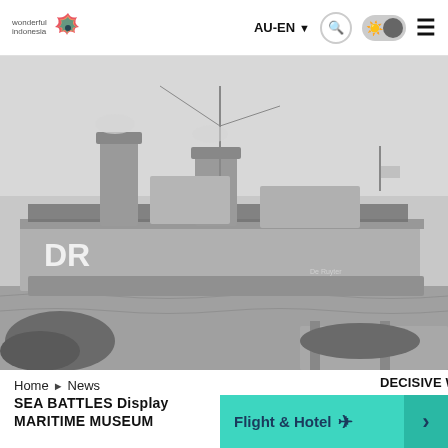wonderful indonesia | AU-EN
[Figure (photo): Black and white historical photograph of a warship (marked 'DR' on hull) docked at port with large crowds gathered on the dock and onboard the vessel. Likely a WWII-era Dutch or Allied naval ship.]
Home ▶ News
DECISIVE WWII JAVA SEA BATTLES Display MARITIME MUSEUM
Flight & Hotel ✈ ›